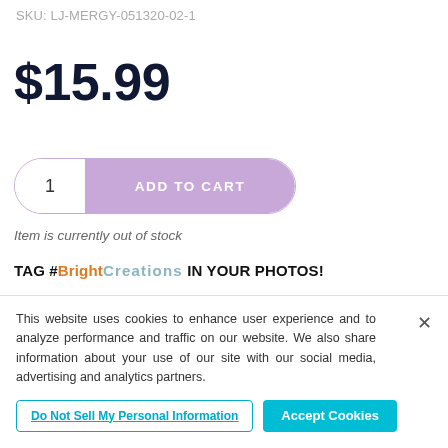SKU: LJ-MERGY-051320-02-1
$15.99
[Figure (other): Add to Cart button with quantity selector showing '1' on the left (white pill) and 'ADD TO CART' on the right (lavender/purple pill button)]
Item is currently out of stock
TAG #BrightCreations IN YOUR PHOTOS!
This website uses cookies to enhance user experience and to analyze performance and traffic on our website. We also share information about your use of our site with our social media, advertising and analytics partners.
Do Not Sell My Personal Information
Accept Cookies